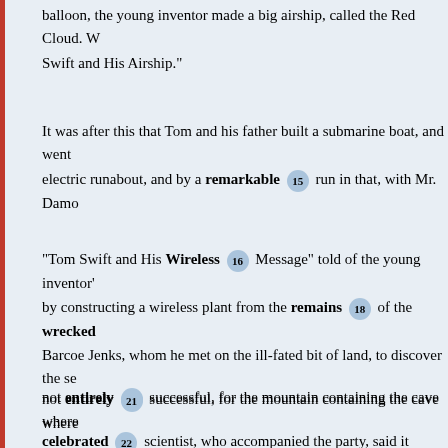balloon, the young inventor made a big airship, called the Red Cloud. W... Swift and His Airship."
It was after this that Tom and his father built a submarine boat, and went... electric runabout, and by a remarkable [15] run in that, with Mr. Damo...
"Tom Swift and His Wireless [16] Message" told of the young inventor'... by constructing a wireless plant from the remains [18] of the wrecked... Barcoe Jenks, whom he met on the ill-fated bit of land, to discover the se... not entirely [21] successful, for the mountain containing the cave where... celebrated [22] scientist, who accompanied the party, said it would be.
But his adventure in seeking to discover the secret of making precious s...